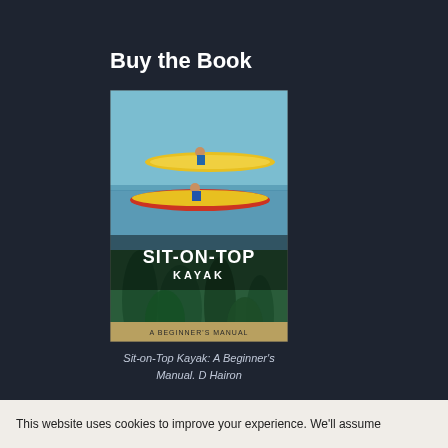Buy the Book
[Figure (photo): Book cover of 'Sit-On-Top Kayak: A Beginner's Manual' showing two people kayaking on clear water with kelp visible beneath the surface. The cover has large white text reading SIT-ON-TOP KAYAK with KAYAK below it, and A BEGINNER'S MANUAL at the bottom.]
Sit-on-Top Kayak: A Beginner's Manual. D Hairon
More from Us
Going Green
This website uses cookies to improve your experience. We'll assume